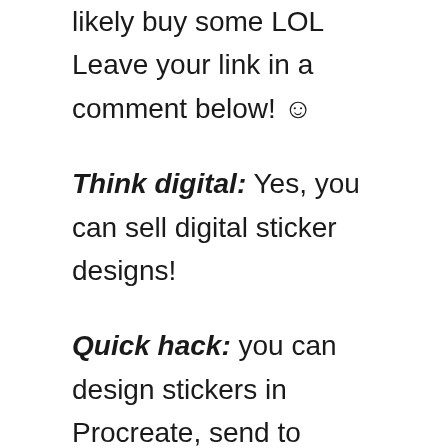likely buy some LOL Leave your link in a comment below! ☺
Think digital: Yes, you can sell digital sticker designs!
Quick hack: you can design stickers in Procreate, send to StickerNinja or another high-quality print provider, and sell your stickers that way. This skips the Cricut step completely.
There are tons of really cool sticker shops on Etsy. Start integrating TikTok into your